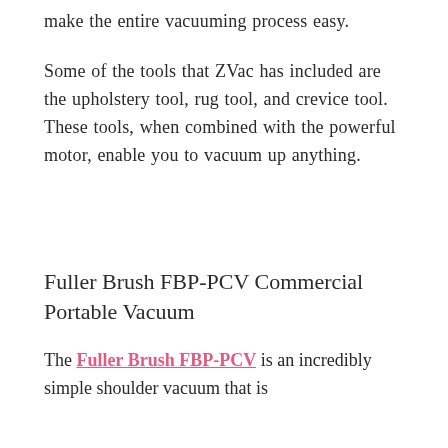make the entire vacuuming process easy.
Some of the tools that ZVac has included are the upholstery tool, rug tool, and crevice tool. These tools, when combined with the powerful motor, enable you to vacuum up anything.
Fuller Brush FBP-PCV Commercial Portable Vacuum
The Fuller Brush FBP-PCV is an incredibly simple shoulder vacuum that is